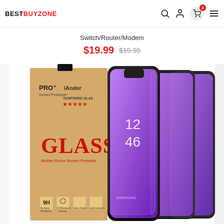BESTBUYZONE
Switch/Router/Modem
$19.99  $19.99
[Figure (photo): Product photo showing iAnder PRO+ GLASS Mobile Phone Screen Protector packaging (kraft brown box) alongside three Samsung Galaxy S9 phones with tempered glass screen protectors installed, showing curved purple/violet display screens with black bezels.]